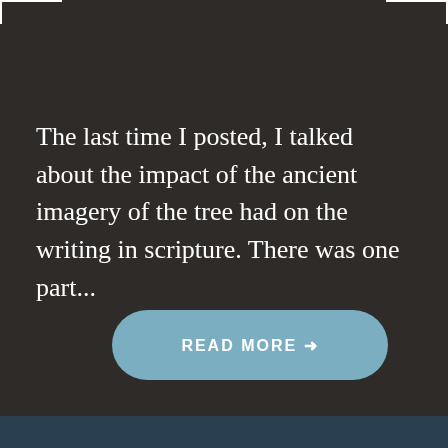The last time I posted, I talked about the impact of the ancient imagery of the tree had on the writing in scripture. There was one part...
READ MORE →